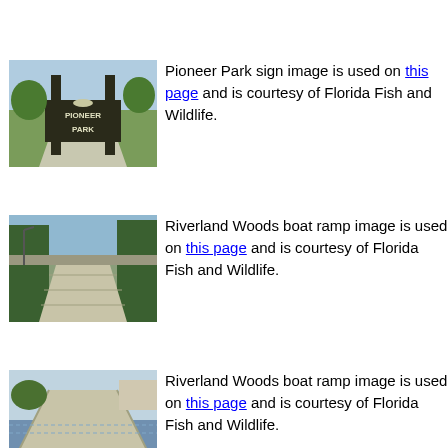[Figure (photo): Pioneer Park entrance sign with two tall dark posts and deer antler emblem, green trees in background]
Pioneer Park sign image is used on this page and is courtesy of Florida Fish and Wildlife.
[Figure (photo): Riverland Woods boat ramp, paved road leading down with trees on sides]
Riverland Woods boat ramp image is used on this page and is courtesy of Florida Fish and Wildlife.
[Figure (photo): Riverland Woods boat ramp, concrete ramp leading to water]
Riverland Woods boat ramp image is used on this page and is courtesy of Florida Fish and Wildlife.